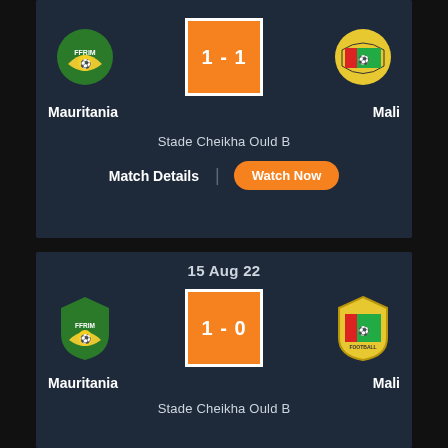[Figure (infographic): Match card: Mauritania vs Mali, score 1-1, with team crests and score box]
Mauritania
Mali
Stade Cheikha Ould B
Match Details
Watch Now
15 Aug 22
[Figure (infographic): Match card: Mauritania vs Mali, score 1-0, with team crests and score box]
Mauritania
Mali
Stade Cheikha Ould B